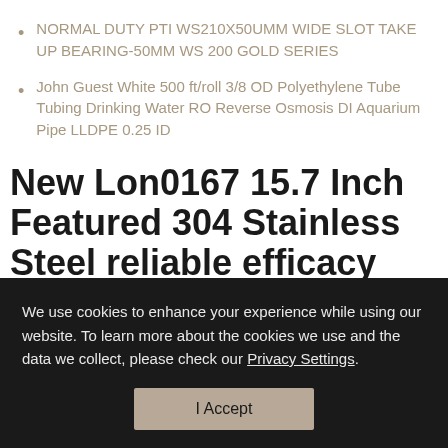NORMAL DUTY PTI WS210X50UMM WIDE SLOT TAKE UP BEARING-50MM WS 200 GOLD SERIES
John Guest White 500 ft/roll 3/8 OD Polyethylene Tube Tubing Drinking Water RO Reverse Osmosis DI Aquarium Pipe LLDPE 0.25 ID
New Lon0167 15.7 Inch Featured 304 Stainless Steel reliable efficacy Self Locking Cable Ties Silver Tone 50pcs
We use cookies to enhance your experience while using our website. To learn more about the cookies we use and the data we collect, please check our Privacy Settings.